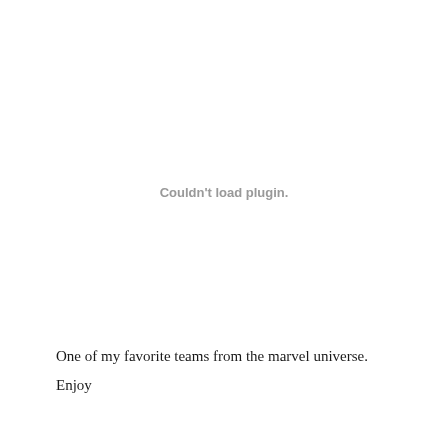Couldn't load plugin.
One of my favorite teams from the marvel universe.
Enjoy